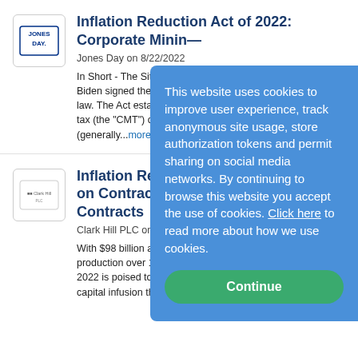[Figure (logo): Jones Day law firm logo]
Inflation Reduction Act of 2022: Corporate Minin...
Jones Day on 8/22/2022
In Short - The Situation: On... Biden signed the Inflation R... law. The Act establishes a n... tax (the "CMT") on large U... (generally...more
[Figure (logo): Clark Hill PLC law firm logo]
Inflation Reduct... on Contractor, B... Contracts
Clark Hill PLC on 8/22/2022
With $98 billion allocated to... production over 10 years, th... 2022 is poised to give renew... capital infusion that will shape contractor,...more
This website uses cookies to improve user experience, track anonymous site usage, store authorization tokens and permit sharing on social media networks. By continuing to browse this website you accept the use of cookies. Click here to read more about how we use cookies.